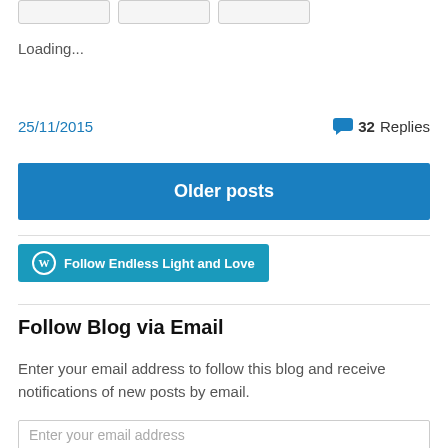[Figure (other): Three button stubs at top of page]
Loading...
25/11/2015
32 Replies
Older posts
[Figure (other): Follow Endless Light and Love WordPress follow button]
Follow Blog via Email
Enter your email address to follow this blog and receive notifications of new posts by email.
Enter your email address